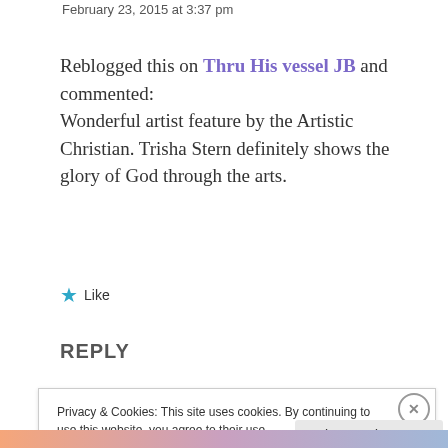February 23, 2015 at 3:37 pm
Reblogged this on Thru His vessel JB and commented:
Wonderful artist feature by the Artistic Christian. Trisha Stern definitely shows the glory of God through the arts.
★ Like
REPLY
Privacy & Cookies: This site uses cookies. By continuing to use this website, you agree to their use.
To find out more, including how to control cookies, see here: Cookie Policy
Close and accept